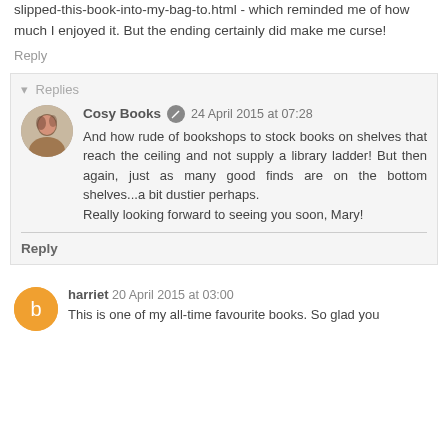slipped-this-book-into-my-bag-to.html - which reminded me of how much I enjoyed it. But the ending certainly did make me curse!
Reply
▾ Replies
Cosy Books 24 April 2015 at 07:28
And how rude of bookshops to stock books on shelves that reach the ceiling and not supply a library ladder! But then again, just as many good finds are on the bottom shelves...a bit dustier perhaps.
Really looking forward to seeing you soon, Mary!
Reply
harriet 20 April 2015 at 03:00
This is one of my all-time favourite books. So glad you